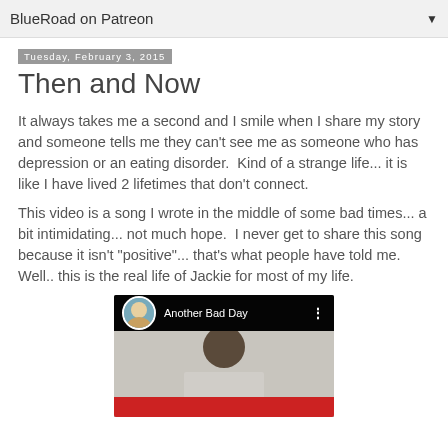BlueRoad on Patreon
Tuesday, February 3, 2015
Then and Now
It always takes me a second and I smile when I share my story and someone tells me they can't see me as someone who has depression or an eating disorder.  Kind of a strange life... it is like I have lived 2 lifetimes that don't connect.
This video is a song I wrote in the middle of some bad times... a bit intimidating... not much hope.  I never get to share this song because it isn't "positive"... that's what people have told me.  Well.. this is the real life of Jackie for most of my life.
[Figure (screenshot): YouTube video thumbnail showing 'Another Bad Day' with a circular avatar, video title, and a person partially visible below]